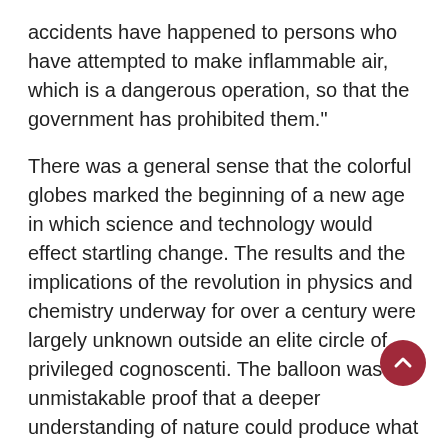accidents have happened to persons who have attempted to make inflammable air, which is a dangerous operation, so that the government has prohibited them."
There was a general sense that the colorful globes marked the beginning of a new age in which science and technology would effect startling change. The results and the implications of the revolution in physics and chemistry underway for over a century were largely unknown outside an elite circle of privileged cognoscenti. The balloon was unmistakable proof that a deeper understanding of nature could produce what looked very much like a miracle. What else was one to think of a contrivance that would carry people into the sky?
If human beings could break the age-old chains of gravity, what other restraints might they cast off? The invention of the balloon seemed perfectly calculated to